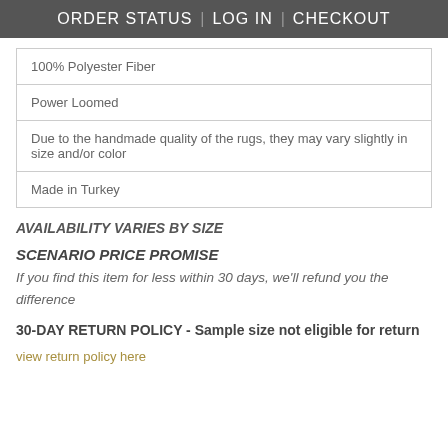ORDER STATUS | LOG IN | CHECKOUT
| 100% Polyester Fiber |
| Power Loomed |
| Due to the handmade quality of the rugs, they may vary slightly in size and/or color |
| Made in Turkey |
AVAILABILITY VARIES BY SIZE
SCENARIO PRICE PROMISE
If you find this item for less within 30 days, we'll refund you the difference
30-DAY RETURN POLICY - Sample size not eligible for return
view return policy here